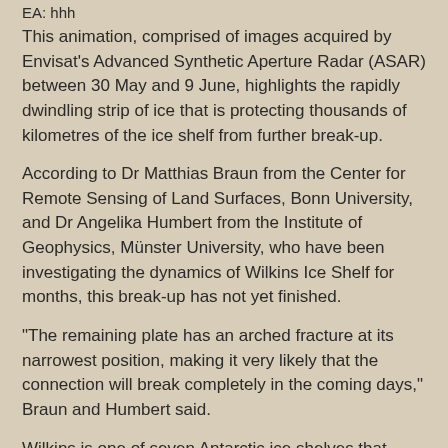EA: hhh
This animation, comprised of images acquired by Envisat's Advanced Synthetic Aperture Radar (ASAR) between 30 May and 9 June, highlights the rapidly dwindling strip of ice that is protecting thousands of kilometres of the ice shelf from further break-up.
According to Dr Matthias Braun from the Center for Remote Sensing of Land Surfaces, Bonn University, and Dr Angelika Humbert from the Institute of Geophysics, Münster University, who have been investigating the dynamics of Wilkins Ice Shelf for months, this break-up has not yet finished.
"The remaining plate has an arched fracture at its narrowest position, making it very likely that the connection will break completely in the coming days," Braun and Humbert said.
Wilkins is one of seven Antarctic ice shelves that have either